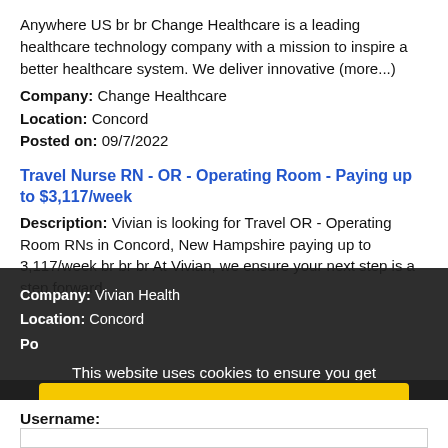Anywhere US br br Change Healthcare is a leading healthcare technology company with a mission to inspire a better healthcare system. We deliver innovative (more...)
Company: Change Healthcare
Location: Concord
Posted on: 09/7/2022
Travel Nurse RN - OR - Operating Room - Paying up to $3,117/week
Description: Vivian is looking for Travel OR - Operating Room RNs in Concord, New Hampshire paying up to 3,117/week br br br At Vivian, we ensure your next step is a step forward.
Company: Vivian Health
Location: Concord
This website uses cookies to ensure you get the best experience on our website. Learn more
Loading more jobs.
Log In or Create An Account
Got it!
Username: